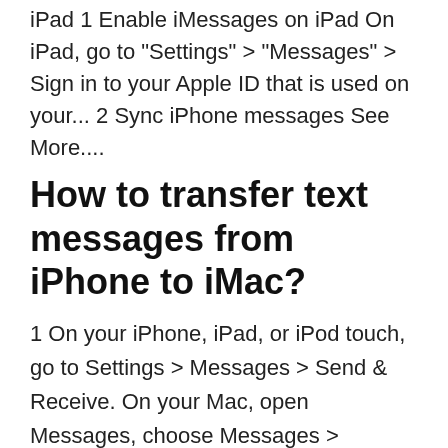iPad 1 Enable iMessages on iPad On iPad, go to "Settings" > "Messages" > Sign in to your Apple ID that is used on your... 2 Sync iPhone messages See More....
How to transfer text messages from iPhone to iMac?
1 On your iPhone, iPad, or iPod touch, go to Settings > Messages > Send & Receive. On your Mac, open Messages, choose Messages > Preferences, then click iMessage. ... 2 On your iPhone, go to Settings > Messages > Text Message Forwarding.* 3 Choose which devices can